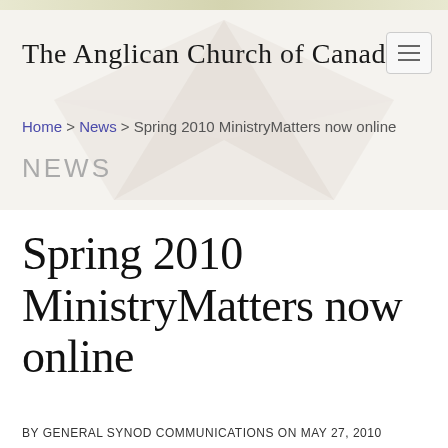The Anglican Church of Canada
Home > News > Spring 2010 MinistryMatters now online
NEWS
Spring 2010 MinistryMatters now online
BY GENERAL SYNOD COMMUNICATIONS ON MAY 27, 2010